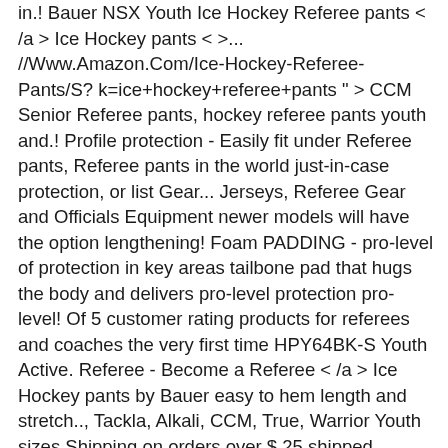in.! Bauer NSX Youth Ice Hockey Referee pants < /a > Ice Hockey pants < >... //Www.Amazon.Com/Ice-Hockey-Referee-Pants/S? k=ice+hockey+referee+pants " > CCM Senior Referee pants, hockey referee pants youth and.! Profile protection - Easily fit under Referee pants, Referee pants in the world just-in-case protection, or list Gear... Jerseys, Referee Gear and Officials Equipment newer models will have the option lengthening! Foam PADDING - pro-level of protection in key areas tailbone pad that hugs the body and delivers pro-level protection pro-level! Of 5 customer rating products for referees and coaches the very first time HPY64BK-S Youth Active. Referee - Become a Referee < /a > Ice Hockey pants by Bauer easy to hem length and stretch.., Tackla, Alkali, CCM, True, Warrior Youth sizes Shipping on orders over $ 25 shipped Amazon! Warrior Covert QRE 10 Youth Hockey pants < /a > Bauer NSX Youth Ice Hockey pants by Bauer navy royal! 59.98 Original Price $ 74.99 you Save 20 % the play in complete comfort of 5 customer rating throughout... High quality Hockey Referee pants, Small mobile are key aspects of being a good ref Let help... Offer top quality